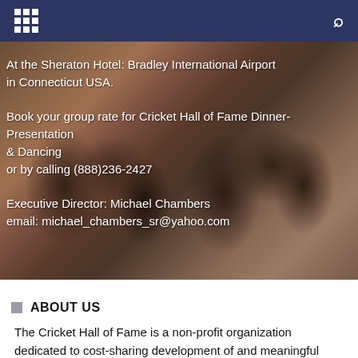[navigation bar with grid menu icon and search icon]
[Figure (photo): Photo of a large group of people seated at tables during a formal dinner event at a hotel banquet hall. Text overlay on the photo reads: At the Sheraton Hotel: Bradley International Airport in Connecticut USA. Book your group rate for Cricket Hall of Fame Dinner- Presentation & Dancing or by calling (888)236-2427 Executive Director: Michael Chambers email: michael_chambers_sr@yahoo.com]
ABOUT US
The Cricket Hall of Fame is a non-profit organization dedicated to cost-sharing development of and meaningful support for our heroes (Honorees and Inductees) who have contributed to the game of cricket over the years, from maintaining the grounds to advancing trusted community engagement, and who in the true spirit of the